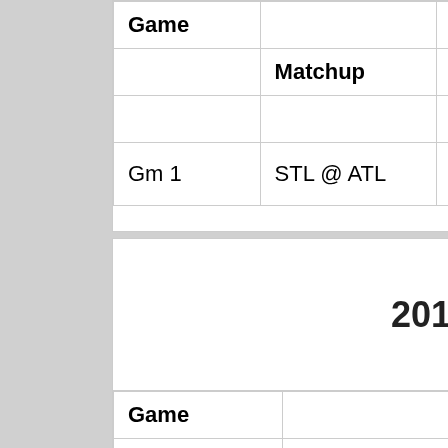| Game | Matchup | Day | Date | Time ET | Resu... |
| --- | --- | --- | --- | --- | --- |
| Gm 1 | STL @ ATL | Fri | Oct. 5 |  | STL 6 – ATL 3 |
2012 AL Division Series
(Det vs. Oak Previews)
| Game | Matchup | Day | Date | Time ET | T... |
| --- | --- | --- | --- | --- | --- |